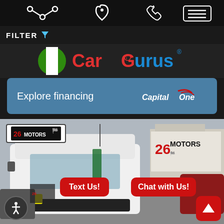[Figure (screenshot): Mobile app top navigation bar with share icon, location pin icon, phone icon, and hamburger menu button on black background]
FILTER
[Figure (logo): CarGurus logo with circular green/white icon and red 'Car' + blue 'Gurus' text with registered trademark symbol]
[Figure (screenshot): Explore financing banner in blue with Capital One logo on right side]
[Figure (photo): White Ford Transit cargo van parked at 26 Motors dealership lot. Red 'Text Us!' and 'Chat with Us!' buttons overlaid. Accessibility button bottom left, up arrow button bottom right. 26 Motors logo overlay top left.]